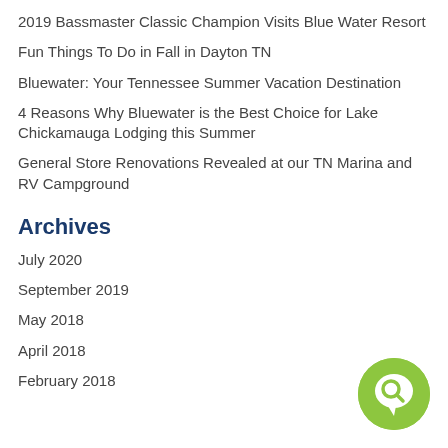2019 Bassmaster Classic Champion Visits Blue Water Resort
Fun Things To Do in Fall in Dayton TN
Bluewater: Your Tennessee Summer Vacation Destination
4 Reasons Why Bluewater is the Best Choice for Lake Chickamauga Lodging this Summer
General Store Renovations Revealed at our TN Marina and RV Campground
Archives
July 2020
September 2019
May 2018
April 2018
February 2018